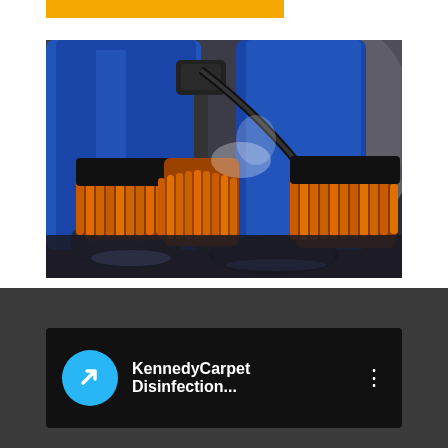[Figure (photo): Orange bar/banner graphic at top of page]
[Figure (photo): Close-up photo of a person in blue protective gear/boots using orange-bristled cleaning brushes on a wet floor, with steam or water spray visible]
[Figure (screenshot): YouTube-style video card on dark background showing KennedyCarpet Disinfection... channel with cyan arrow icon and three-dot menu]